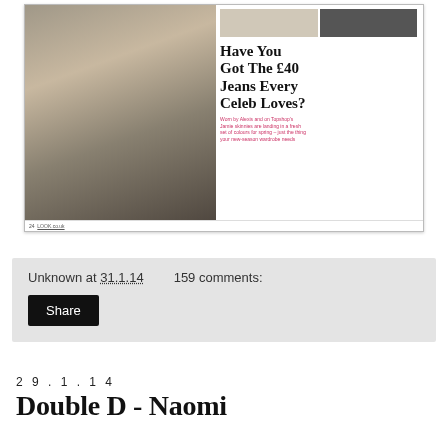[Figure (screenshot): Screenshot of a magazine page showing a woman wearing black ripped jeans and cream ankle boots, with headline 'Have You Got The £40 Jeans Every Celeb Loves?' and pink subtext about Topshop Jamie skinny jeans. Small images of shoes at top right. Page footer: '24 LOOK.co.uk']
Unknown at 31.1.14    159 comments:
Share
2 9 . 1 . 1 4
Double D - Naomi